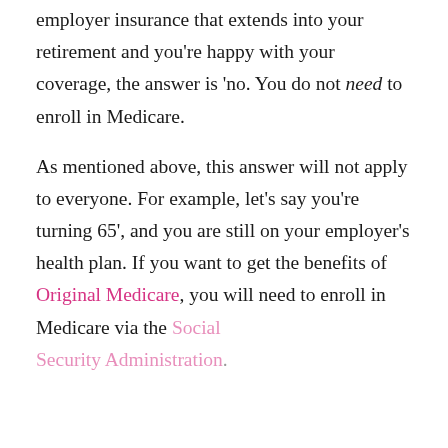employer insurance that extends into your retirement and you're happy with your coverage, the answer is 'no. You do not need to enroll in Medicare.
As mentioned above, this answer will not apply to everyone. For example, let's say you're turning 65', and you are still on your employer's health plan. If you want to get the benefits of Original Medicare, you will need to enroll in Medicare via the Social Security Administration.